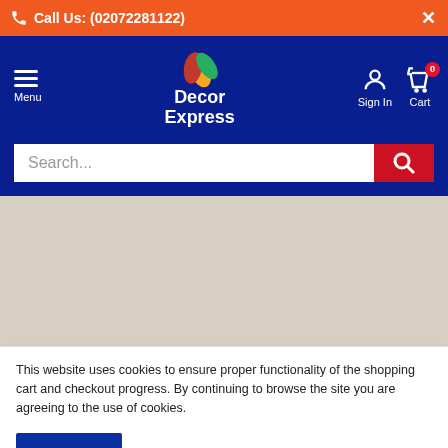Call Us: (02072281122)
[Figure (logo): Decor Express logo with colorful leaf and brand name]
Search...
[Figure (photo): Map placeholder area with beige/tan background]
This website uses cookies to ensure proper functionality of the shopping cart and checkout progress. By continuing to browse the site you are agreeing to the use of cookies.
Accept